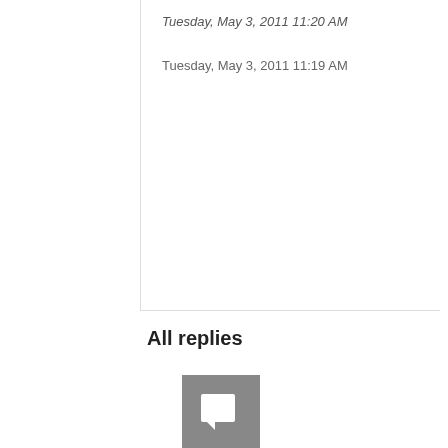Tuesday, May 3, 2011 11:20 AM
Tuesday, May 3, 2011 11:19 AM
All replies
[Figure (illustration): User avatar icon: grey square with white speech-bubble/flag icon]
0
Sign in to vote
You don't open an explicit transaction, but you insert data, so SQL Server opens an implicit transaction, so MSDTC must be running